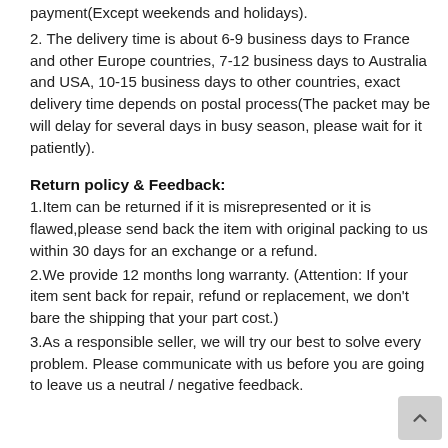payment(Except weekends and holidays).
2. The delivery time is about 6-9 business days to France and other Europe countries, 7-12 business days to Australia and USA, 10-15 business days to other countries, exact delivery time depends on postal process(The packet may be will delay for several days in busy season, please wait for it patiently).
Return policy & Feedback:
1.Item can be returned if it is misrepresented or it is flawed,please send back the item with original packing to us within 30 days for an exchange or a refund.
2.We provide 12 months long warranty. (Attention: If your item sent back for repair, refund or replacement, we don't bare the shipping that your part cost.)
3.As a responsible seller, we will try our best to solve every problem. Please communicate with us before you are going to leave us a neutral / negative feedback.